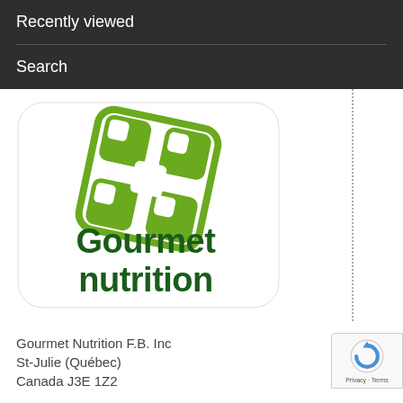Recently viewed
Search
[Figure (logo): Gourmet Nutrition logo: green interlocking chain-link style icon above text reading 'Gourmet nutrition' in dark green bold font, on a white background with a white outlined badge shape.]
Gourmet Nutrition F.B. Inc
St-Julie (Québec)
Canada J3E 1Z2